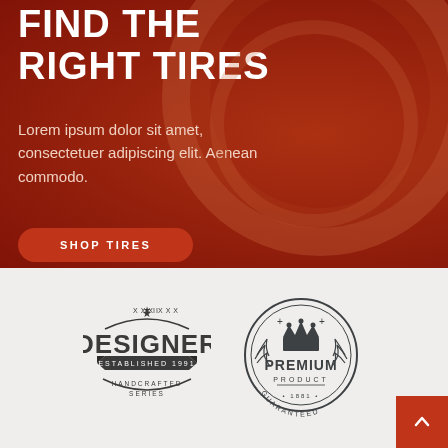FIND THE RIGHT TIRES
Lorem ipsum dolor sit amet, consectetuer adipiscing elit. Aenean commodo.
SHOP TIRES
[Figure (logo): Vintage designer badge logo with star, text DESIGNER ESTABLISHED 1991 HANDCRAFTED SERIES]
[Figure (logo): Premium product guaranteed badge with crown, laurel wreath, est. 1881]